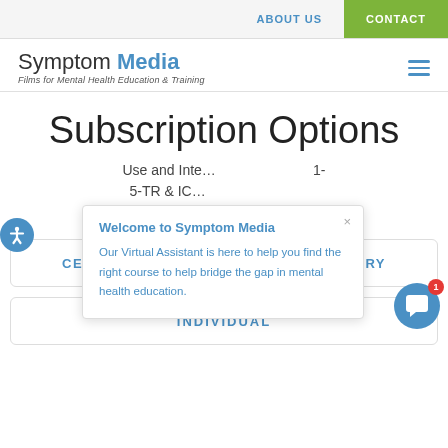ABOUT US  CONTACT
Symptom Media – Films for Mental Health Education & Training
Subscription Options
Use and Inte... 1-5-TR & IC... Undergraduate... al
[Figure (screenshot): Welcome to Symptom Media popup with text: Our Virtual Assistant is here to help you find the right course to help bridge the gap in mental health education.]
CE COURSE COLLECTION + FILM LIBRARY
INDIVIDUAL